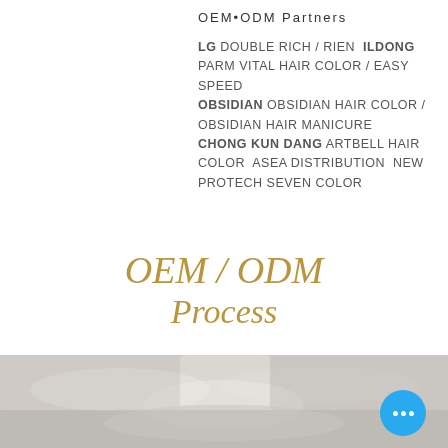OEM•ODM Partners
LG DOUBLE RICH / RIEN  ILDONG PARM VITAL HAIR COLOR / EASY SPEED OBSIDIAN OBSIDIAN HAIR COLOR / OBSIDIAN HAIR MANICURE CHONG KUN DANG ARTBELL HAIR COLOR  ASEA DISTRIBUTION  NEW PROTECH SEVEN COLOR
OEM / ODM Process
[Figure (photo): Blurred photo of hair color product packaging/tubes arranged on a surface]